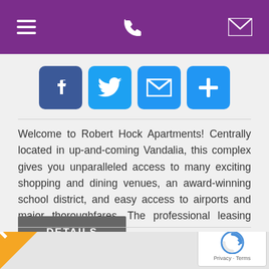Navigation header with hamburger menu, phone icon, and email icon
[Figure (infographic): Row of four social share buttons: Facebook (blue), Twitter (light blue), Email (blue envelope), Plus/More (blue)]
Welcome to Robert Hock Apartments! Centrally located in up-and-coming Vandalia, this complex gives you unparalleled access to many exciting shopping and dining venues, an award-winning school district, and easy access to airports and major thoroughfares. The professional leasing staff is ready [...]
DETAILS
[Figure (infographic): Orange diagonal ribbon with text RENT in white, bottom left corner of page]